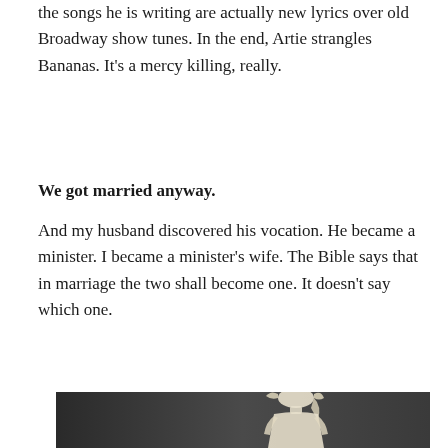the songs he is writing are actually new lyrics over old Broadway show tunes. In the end, Artie strangles Bananas. It's a mercy killing, really.
We got married anyway.
And my husband discovered his vocation. He became a minister. I became a minister's wife. The Bible says that in marriage the two shall become one. It doesn't say which one.
[Figure (photo): A mannequin wearing a cream/ivory long-sleeved wedding dress with a head covering or veil tied in a bow at the top, photographed against a dark gray background.]